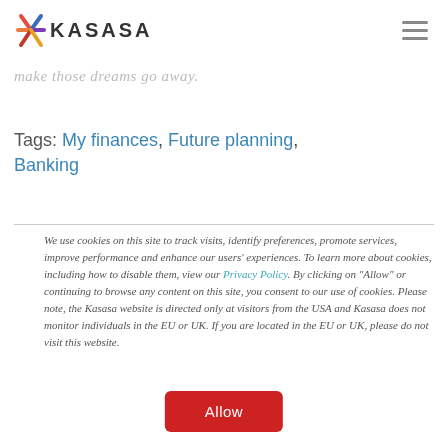KASASA
make those dreams go away.
Tags: My finances, Future planning, Banking
We use cookies on this site to track visits, identify preferences, promote services, improve performance and enhance our users' experiences. To learn more about cookies, including how to disable them, view our Privacy Policy. By clicking on “Allow” or continuing to browse any content on this site, you consent to our use of cookies. Please note, the Kasasa website is directed only at visitors from the USA and Kasasa does not monitor individuals in the EU or UK. If you are located in the EU or UK, please do not visit this website.